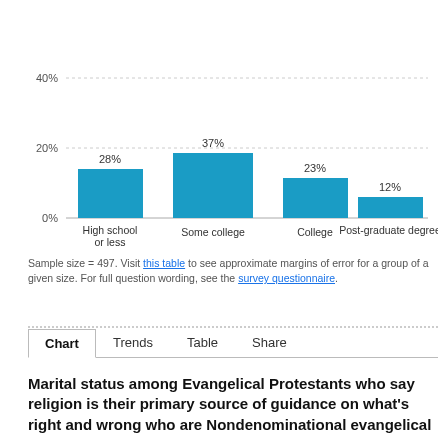[Figure (bar-chart): ]
Sample size = 497. Visit this table to see approximate margins of error for a group of a given size. For full question wording, see the survey questionnaire.
Chart  Trends  Table  Share
Marital status among Evangelical Protestants who say religion is their primary source of guidance on what's right and wrong who are Nondenominational evangelical